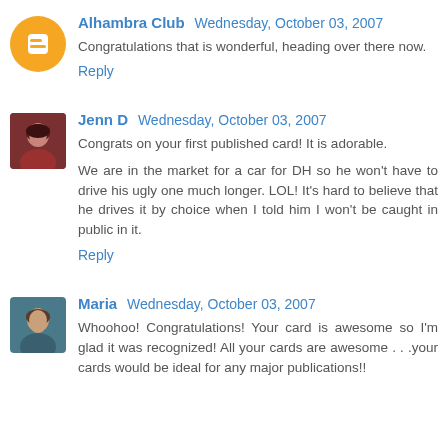Alhambra Club  Wednesday, October 03, 2007
Congratulations that is wonderful, heading over there now.
Reply
Jenn D  Wednesday, October 03, 2007
Congrats on your first published card! It is adorable.
We are in the market for a car for DH so he won't have to drive his ugly one much longer. LOL! It's hard to believe that he drives it by choice when I told him I won't be caught in public in it.
Reply
Maria  Wednesday, October 03, 2007
Whoohoo! Congratulations! Your card is awesome so I'm glad it was recognized! All your cards are awesome . . .your cards would be ideal for any major publications!!